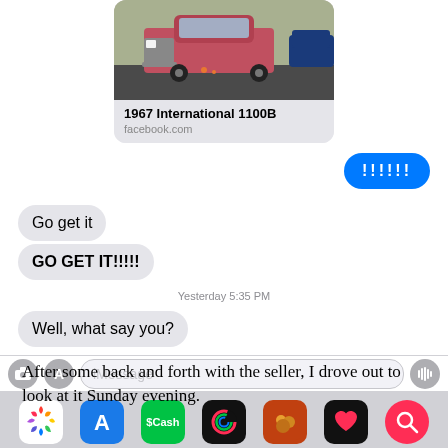[Figure (screenshot): iPhone iMessage conversation screenshot showing a Facebook link preview of a 1967 International 1100B truck, a blue sent bubble with exclamation marks, received bubbles saying 'Go get it' and 'GO GET IT!!!!!', a timestamp 'Yesterday 5:35 PM', a received bubble 'Well, what say you?', an iMessage input bar, and an app tray with icons.]
After some back and forth with the seller, I drove out to look at it Sunday evening.